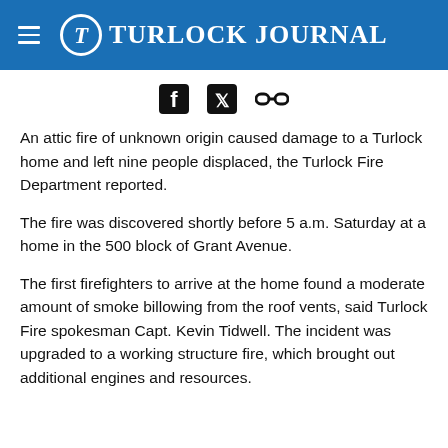Turlock Journal
[Figure (other): Social media sharing icons: Facebook, Twitter, and link/chain icon]
An attic fire of unknown origin caused damage to a Turlock home and left nine people displaced, the Turlock Fire Department reported.
The fire was discovered shortly before 5 a.m. Saturday at a home in the 500 block of Grant Avenue.
The first firefighters to arrive at the home found a moderate amount of smoke billowing from the roof vents, said Turlock Fire spokesman Capt. Kevin Tidwell. The incident was upgraded to a working structure fire, which brought out additional engines and resources.